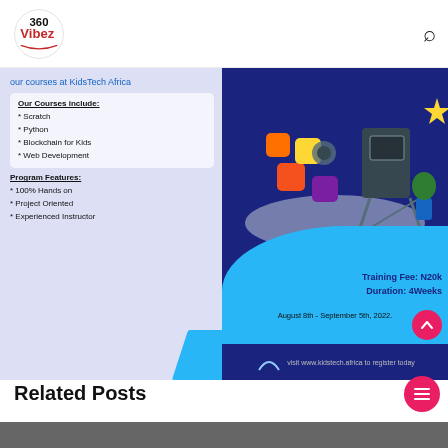360Vibez ...Get Entertained
[Figure (infographic): KidsTech Africa coding program advertisement. Left side on lavender background shows: 'our courses at KidsTech Africa', then a white box listing 'Our Courses include: * Scratch * Python * Blockchain for Kids * Web Development', and below 'Program Features: * 100% Hands on * Project Oriented * Experienced Instructor'. Right side shows an illustrated child at a computer with tech icons, blue wave shape, text 'Training Fee: N20k Duration: 4Weeks', 'August 8th - September 5th, 2022.', dark navy footer bar with 'visit www.kidstech.africa to register today', and a red scroll-up button.]
Related Posts